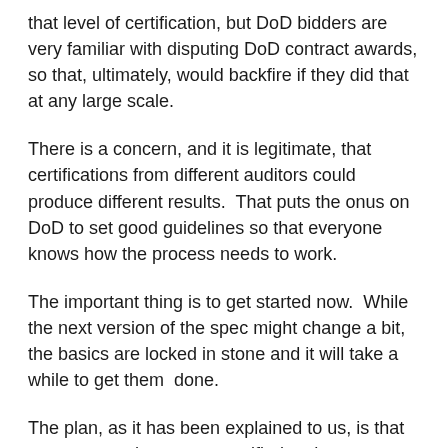that level of certification, but DoD bidders are very familiar with disputing DoD contract awards, so that, ultimately, would backfire if they did that at any large scale.
There is a concern, and it is legitimate, that certifications from different auditors could produce different results. That puts the onus on DoD to set good guidelines so that everyone knows how the process needs to work.
The important thing is to get started now. While the next version of the spec might change a bit, the basics are locked in stone and it will take a while to get them done.
The plan, as it has been explained to us, is that contractors who are not certified at the appropriate level will not be allowed to bid on contracts that specify a CMMC requirement. There will likely be long queues once the final process is announced, so getting started now will put you in a place where you can request certification earlier and get a